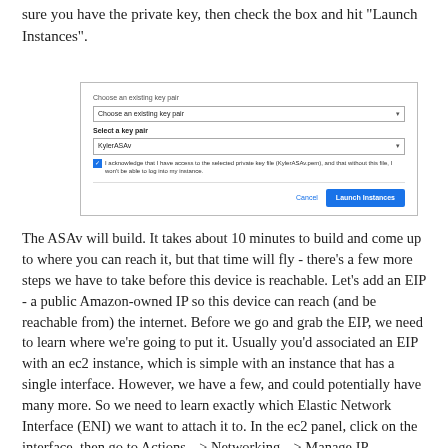sure you have the private key, then check the box and hit "Launch Instances".
[Figure (screenshot): AWS EC2 dialog box for selecting a key pair before launching instances. Shows 'Choose an existing key pair' dropdown, 'Select a key pair' label with 'KylerASAv' selected, a checked acknowledgment checkbox, and Cancel / Launch Instances buttons.]
The ASAv will build. It takes about 10 minutes to build and come up to where you can reach it, but that time will fly - there's a few more steps we have to take before this device is reachable. Let's add an EIP - a public Amazon-owned IP so this device can reach (and be reachable from) the internet. Before we go and grab the EIP, we need to learn where we're going to put it. Usually you'd associated an EIP with an ec2 instance, which is simple with an instance that has a single interface. However, we have a few, and could potentially have many more. So we need to learn exactly which Elastic Network Interface (ENI) we want to attach it to. In the ec2 panel, click on the interface, then go to Actions --> Networking --> Manage IP Addresses. We don't care about the actual IPs yet - what we're interested in the ENI of eth1, the SECOND interface on this device. Remember, the second interface